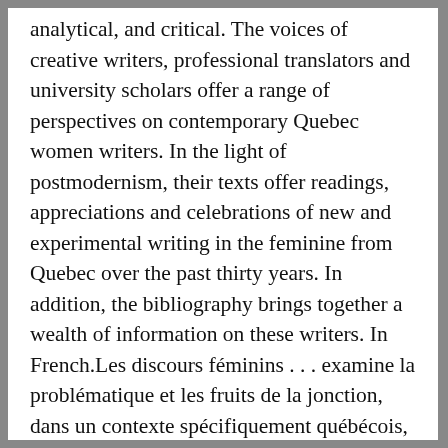analytical, and critical. The voices of creative writers, professional translators and university scholars offer a range of perspectives on contemporary Quebec women writers. In the light of postmodernism, their texts offer readings, appreciations and celebrations of new and experimental writing in the feminine from Quebec over the past thirty years. In addition, the bibliography brings together a wealth of information on these writers. In French.Les discours féminins . . . examine la problématique et les fruits de la jonction, dans un contexte spécifiquement québécois, des deux grands mouvements sociaux, théoriques et littéraires d'aujourd'hui: le féminisme, et le postmodernisme. Le livre fait entendre les voix émouvantes et étonnantes de Louky Bersianik, Nicole Brossard, Susanne de Lotbinière-Harwood,